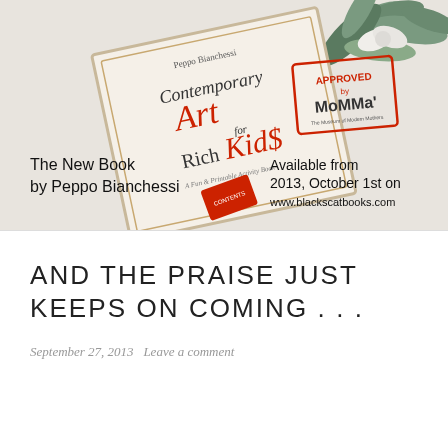[Figure (illustration): Advertisement image for 'Contemporary Art for Rich Kids' book by Peppo Bianchessi. Shows a book cover with decorative botanical illustration, 'APPROVED by MoMMa' stamp, text 'The New Book by Peppo Bianchessi' and 'Available from 2013, October 1st on www.blackscatbooks.com']
AND THE PRAISE JUST KEEPS ON COMING . . .
September 27, 2013   Leave a comment